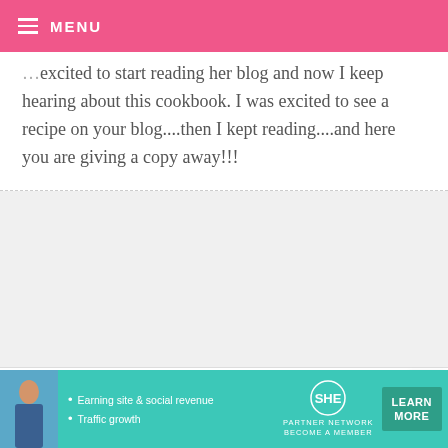MENU
excited to start reading her blog and now I keep hearing about this cookbook. I was excited to see a recipe on your blog....then I kept reading....and here you are giving a copy away!!!
COURTNEY — NOVEMBER 1, 2009 @ 10:10 PM
I've tried one of her pasta dishes. Can't
[Figure (screenshot): Advertisement banner for SHE Partner Network showing a woman, bullet points about Earning site & social revenue and Traffic growth, SHE logo, and a Learn More button]